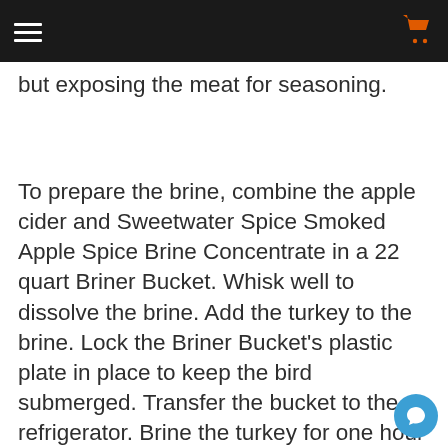[navigation header with hamburger menu and cart icon]
but exposing the meat for seasoning.
To prepare the brine, combine the apple cider and Sweetwater Spice Smoked Apple Spice Brine Concentrate in a 22 quart Briner Bucket. Whisk well to dissolve the brine. Add the turkey to the brine. Lock the Briner Bucket's plastic plate in place to keep the bird submerged. Transfer the bucket to the refrigerator. Brine the turkey for one hour for every pound of the turkey's weight.